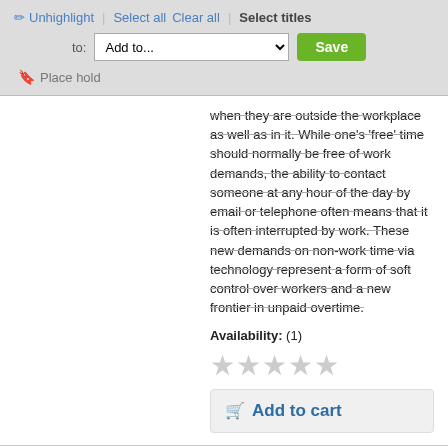Unhighlight | Select all  Clear all | Select titles  to: Add to...  Save  Place hold
when they are outside the workplace as well as in it. While one's 'free' time should normally be free of work demands, the ability to contact someone at any hour of the day by email or telephone often means that it is often interrupted by work. These new demands on non-work time via technology represent a form of soft control over workers and a new frontier in unpaid overtime.
Availability: (1)
Add to cart
Social Support Networks and subjective well-being in Queensland /
by Huang, Xianbi | The Australian Sociological Association